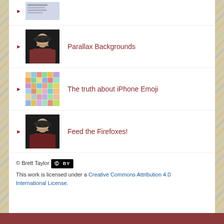Parallax Backgrounds
The truth about iPhone Emoji
Feed the Firefoxes!
Host of the Heart
© Brett Taylor [CC BY]
This work is licensed under a Creative Commons Attribution 4.0 International License.